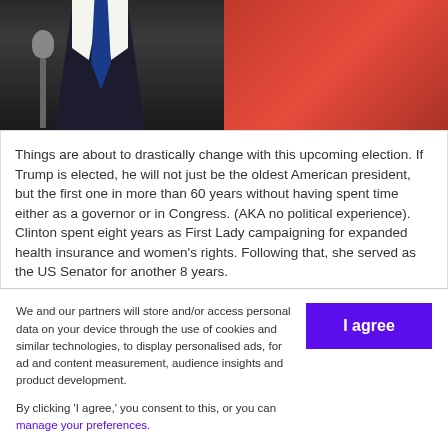[Figure (photo): Two people at a podium/event: left side shows a person in dark suit with blue tie and microphone, right side shows a person in red jacket. Appears to be a political context (Trump and Clinton).]
Things are about to drastically change with this upcoming election. If Trump is elected, he will not just be the oldest American president, but the first one in more than 60 years without having spent time either as a governor or in Congress. (AKA no political experience). Clinton spent eight years as First Lady campaigning for expanded health insurance and women's rights. Following that, she served as the US Senator for another 8 years.
We and our partners will store and/or access personal data on your device through the use of cookies and similar technologies, to display personalised ads, for ad and content measurement, audience insights and product development.

By clicking 'I agree,' you consent to this, or you can manage your preferences.